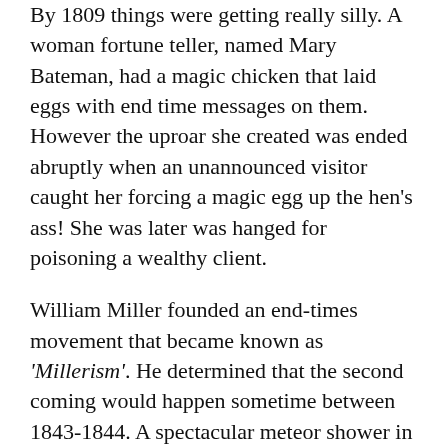By 1809 things were getting really silly. A woman fortune teller, named Mary Bateman, had a magic chicken that laid eggs with end time messages on them. However the uproar she created was ended abruptly when an unannounced visitor caught her forcing a magic egg up the hen's ass! She was later was hanged for poisoning a wealthy client.
William Miller founded an end-times movement that became known as 'Millerism'. He determined that the second coming would happen sometime between 1843-1844. A spectacular meteor shower in 1833 gave the movement a good push forward and the anticipation continued to build up until March 21, 1844, when Miller's one year time table ran